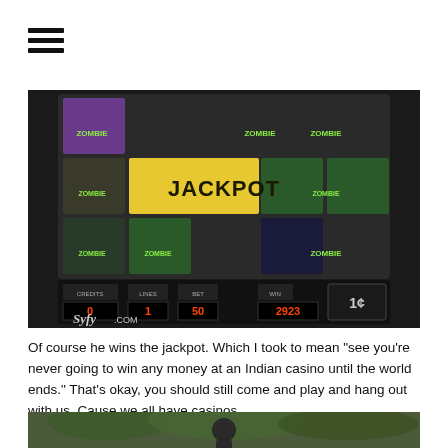[Figure (screenshot): A zombie-themed slot machine screen showing 'JACKPOT' in large letters, with zombie symbols in the reels. The bottom of the screen shows WIN 2923 and 1 cent denomination. Syfy.com watermark in bottom left.]
Of course he wins the jackpot. Which I took to mean "see you're never going to win any money at an Indian casino until the world ends." That's okay, you should still come and play and hang out with us. Cause we all have casinos...
[Figure (photo): A person standing outdoors in a wooded/green area, partially visible at bottom of page.]